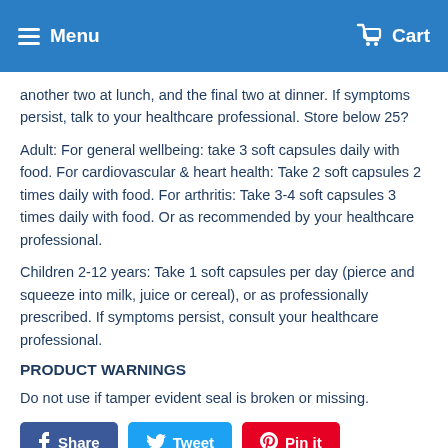Menu  Cart
another two at lunch, and the final two at dinner. If symptoms persist, talk to your healthcare professional. Store below 25?
Adult: For general wellbeing: take 3 soft capsules daily with food. For cardiovascular & heart health: Take 2 soft capsules 2 times daily with food. For arthritis: Take 3-4 soft capsules 3 times daily with food. Or as recommended by your healthcare professional.
Children 2-12 years: Take 1 soft capsules per day (pierce and squeeze into milk, juice or cereal), or as professionally prescribed. If symptoms persist, consult your healthcare professional.
PRODUCT WARNINGS
Do not use if tamper evident seal is broken or missing.